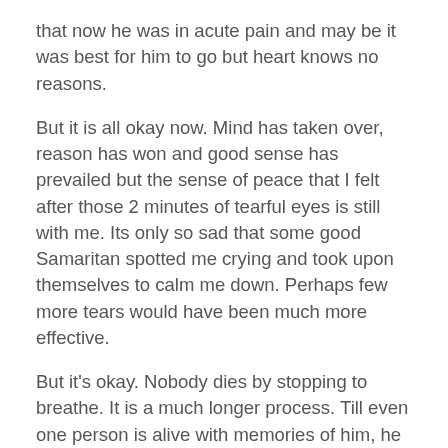that now he was in acute pain and may be it was best for him to go but heart knows no reasons.
But it is all okay now. Mind has taken over, reason has won and good sense has prevailed but the sense of peace that I felt after those 2 minutes of tearful eyes is still with me. Its only so sad that some good Samaritan spotted me crying and took upon themselves to calm me down. Perhaps few more tears would have been much more effective.
But it's okay. Nobody dies by stopping to breathe. It is a much longer process. Till even one person is alive with memories of him, he lives on. God bless !
xxxxxxxxxxxxxxxxxxxxxxxxxxxxxxxxx
My mom was at his bed side when papa ji left this